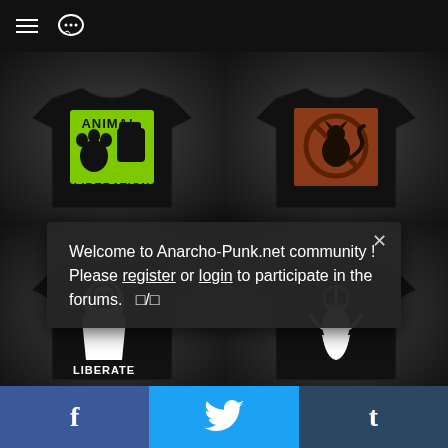Navigation bar with hamburger menu and chat icon
[Figure (photo): Four black t-shirts displayed in a 2x2 grid. Top-left: 'Animal Liberation' shirt with green text and pawprint/fist graphic. Top-right: Black shirt with a circular anarchist black cat graphic on a brown/red square background. Bottom-left: Black shirt with black-and-white graphic of a person with 'Liberate' text. Bottom-right: Black shirt with white illustration of a figure with peace/anarchy symbol.]
Welcome to Anarcho-Punk.net community ! Please register or login to participate in the forums. □/□
f  (Twitter bird icon)  t